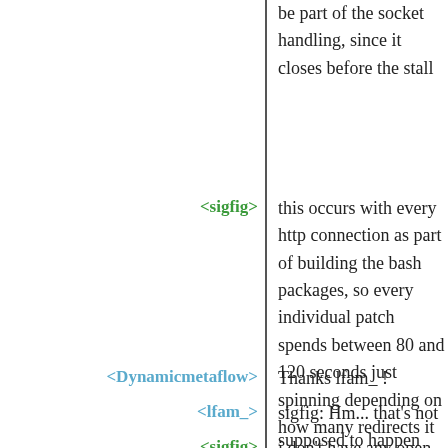be part of the socket handling, since it closes before the stall
<sigfig> this occurs with every http connection as part of building the bash packages, so every individual patch spends between 80 and 120 seconds just spinning depending on how many redirects it gets
<Dynamicmetaflow> Thanks lfam_ !
<lfam_> sigfig: Hm... that's not supposed to happen
<sigfig> i don't have any open